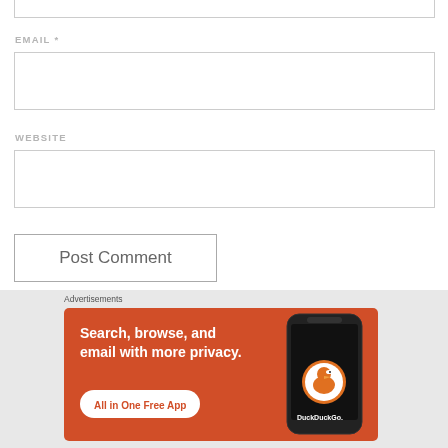[Figure (screenshot): Partial top input box cropped at top of page]
EMAIL *
[Figure (screenshot): Email input text field (empty)]
WEBSITE
[Figure (screenshot): Website input text field (empty)]
[Figure (screenshot): Post Comment button]
Advertisements
[Figure (screenshot): DuckDuckGo advertisement banner: Search, browse, and email with more privacy. All in One Free App. Shows DuckDuckGo logo and phone mockup.]